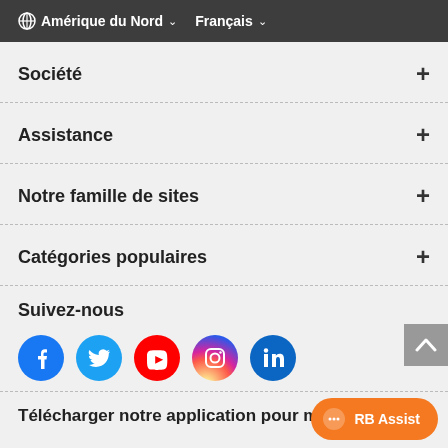🌐 Amérique du Nord ∨   Français ∨
Société +
Assistance +
Notre famille de sites +
Catégories populaires +
Suivez-nous
[Figure (infographic): Social media icons: Facebook, Twitter, YouTube, Instagram, LinkedIn]
Télécharger notre application pour m…
[Figure (other): RB Assist chat button (orange pill-shaped button)]